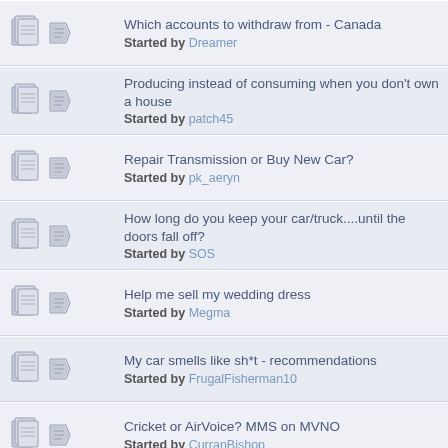Which accounts to withdraw from - Canada
Started by Dreamer
Producing instead of consuming when you don't own a house
Started by patch45
Repair Transmission or Buy New Car?
Started by pk_aeryn
How long do you keep your car/truck....until the doors fall off?
Started by SOS
Help me sell my wedding dress
Started by Megma
My car smells like sh*t - recommendations
Started by FrugalFisherman10
Cricket or AirVoice? MMS on MVNO
Started by CurranBishop
How do you know when to job hop?
Started by marielle
Honda Fit: does it fit Dog + Baby + stuff?
Started by Spruit